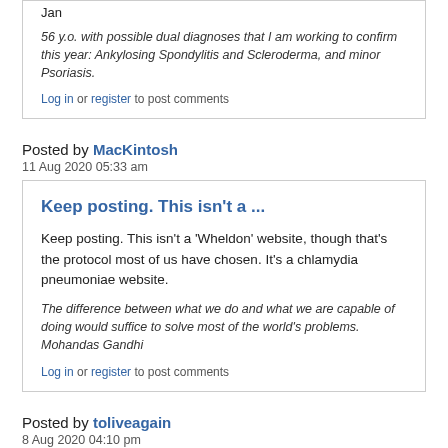Jan
56 y.o. with possible dual diagnoses that I am working to confirm this year: Ankylosing Spondylitis and Scleroderma, and minor Psoriasis.
Log in or register to post comments
Posted by MacKintosh
11 Aug 2020 05:33 am
Keep posting. This isn't a ...
Keep posting. This isn't a 'Wheldon' website, though that's the protocol most of us have chosen. It's a chlamydia pneumoniae website.
The difference between what we do and what we are capable of doing would suffice to solve most of the world's problems. Mohandas Gandhi
Log in or register to post comments
Posted by toliveagain
8 Aug 2020 04:10 pm